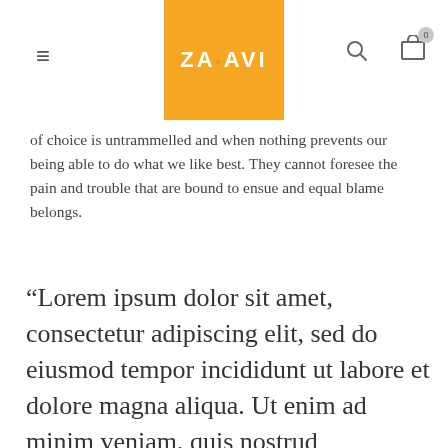ZAHAVI (navigation header with logo, hamburger menu, search, and cart icons)
of choice is untrammelled and when nothing prevents our being able to do what we like best. They cannot foresee the pain and trouble that are bound to ensue and equal blame belongs.
“Lorem ipsum dolor sit amet, consectetur adipiscing elit, sed do eiusmod tempor incididunt ut labore et dolore magna aliqua. Ut enim ad minim veniam, quis nostrud exercitation ullamco laboris nisi